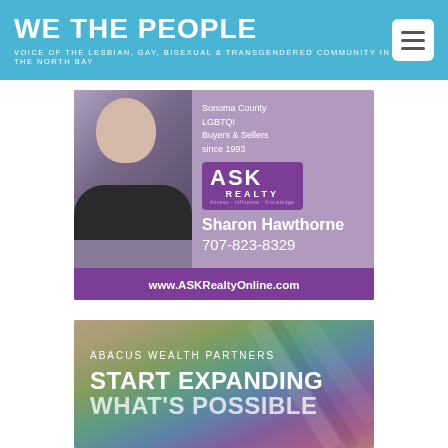WE THE PEOPLE — VOICE OF THE LESBIAN, GAY, BISEXUAL & TRANSGENDERED COMMUNITY IN THE NORTH BAY
[Figure (advertisement): ASK Realty advertisement featuring Sharon Hawthorne, Sonoma County LGBTQI Buyers & Sellers since 1993, phone 707-823-8329, website www.ASKRealtyOnline.com]
[Figure (advertisement): Abacus Wealth Partners advertisement with text: START EXPANDING WHAT'S POSSIBLE WITH YOUR MONEY, over rainbow-colored fabric background]